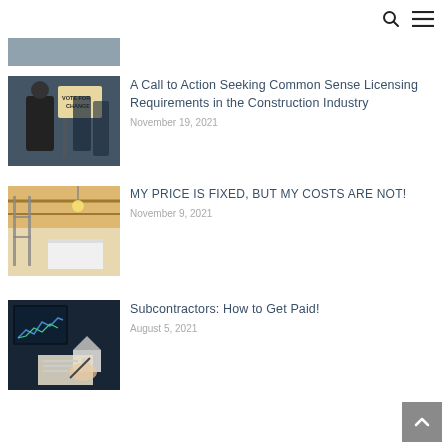search and menu icons
[Figure (photo): Partial top image strip cropped from previous article]
[Figure (photo): Person holding a sign reading VOTE FOR CHANGE at a public gathering]
A Call to Action Seeking Common Sense Licensing Requirements in the Construction Industry
November 19, 2021
[Figure (photo): Interior kitchen under construction with scaffolding]
MY PRICE IS FIXED, BUT MY COSTS ARE NOT!
November 9, 2021
[Figure (photo): Person reviewing financial documents with house model and graphs on screen]
Subcontractors: How to Get Paid!
August 5, 2021